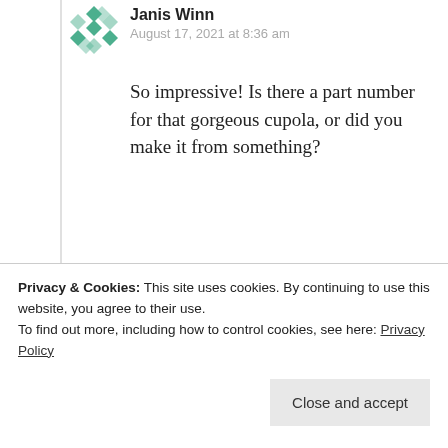Janis Winn
August 17, 2021 at 8:36 am
So impressive! Is there a part number for that gorgeous cupola, or did you make it from something?
Like
Reply
Thanks 🙂
Privacy & Cookies: This site uses cookies. By continuing to use this website, you agree to their use.
To find out more, including how to control cookies, see here: Privacy Policy
Close and accept